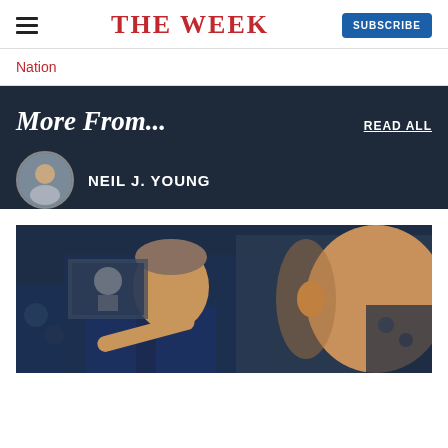THE WEEK
Nation
More From...
READ ALL
NEIL J. YOUNG
[Figure (photo): Two men, one younger pointing with a finger, one older in profile view, against a dark blue background with crowd imagery]